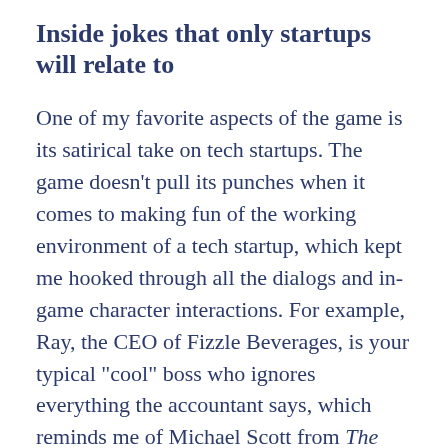Inside jokes that only startups will relate to
One of my favorite aspects of the game is its satirical take on tech startups. The game doesn’t pull its punches when it comes to making fun of the working environment of a tech startup, which kept me hooked through all the dialogs and in-game character interactions. For example, Ray, the CEO of Fizzle Beverages, is your typical “cool” boss who ignores everything the accountant says, which reminds me of Michael Scott from The Office.
And you’ll be able to witness it through